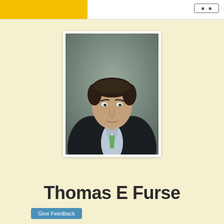[Figure (photo): Professional headshot of Thomas E Furse, a man in a dark suit with a green tie and light blue shirt, photographed against a grey background.]
Thomas E Furse
Give Feedback